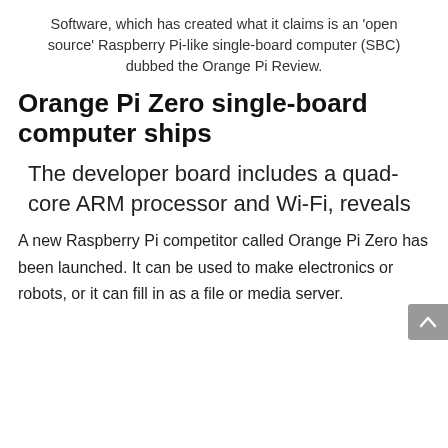Software, which has created what it claims is an 'open source' Raspberry Pi-like single-board computer (SBC) dubbed the Orange Pi Review.
Orange Pi Zero single-board computer ships
The developer board includes a quad-core ARM processor and Wi-Fi, reveals
A new Raspberry Pi competitor called Orange Pi Zero has been launched. It can be used to make electronics or robots, or it can fill in as a file or media server.